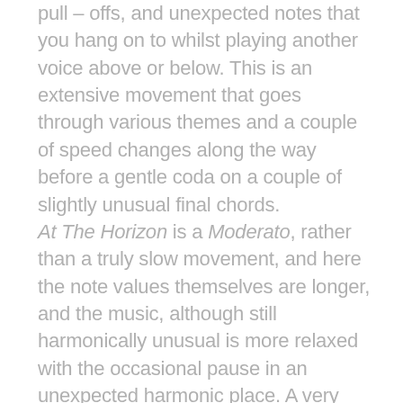pull – offs, and unexpected notes that you hang on to whilst playing another voice above or below. This is an extensive movement that goes through various themes and a couple of speed changes along the way before a gentle coda on a couple of slightly unusual final chords. At The Horizon is a Moderato, rather than a truly slow movement, and here the note values themselves are longer, and the music, although still harmonically unusual is more relaxed with the occasional pause in an unexpected harmonic place. A very brief Piu Mosso, leads eventually back to the opening idea and a quasi attacca on the final chord to go straight into the last movement